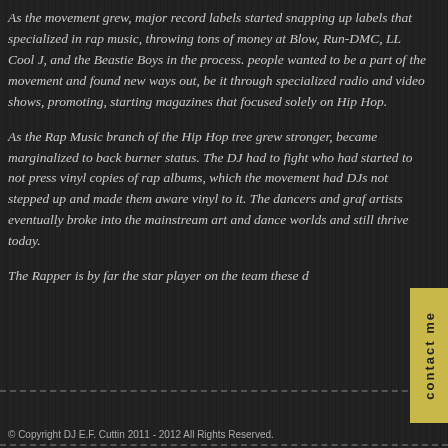As the movement grew, major record labels started snapping up labels that specialized in rap music, throwing tons of money at Blow, Run-DMC, LL Cool J, and the Beastie Boys in the process. people wanted to be a part of the movement and found new ways out, be it through specialized radio and video shows, promoting, starting magazines that focused solely on Hip Hop.
As the Rap Music branch of the Hip Hop tree grew stronger, became marginalized to back burner status. The DJ had to fight who had started to not press vinyl copies of rap albums, which the movement had DJs not stepped up and made them aware vinyl to it. The dancers and graf artists eventually broke into the mainstream art and dance worlds and still thrive today.
The Rapper is by far the star player on the team these d...
© Copyright DJ E.F. Cuttin 2011 - 2012 All Rights Reserved.